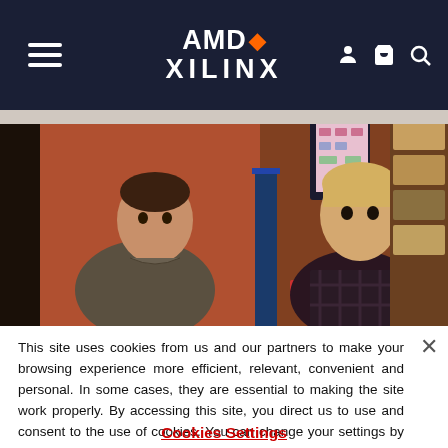AMD XILINX
[Figure (photo): Two men in an engineering lab or demo room, facing each other in conversation. A monitor displays a block diagram in the background. Electronic equipment is visible on the table.]
This site uses cookies from us and our partners to make your browsing experience more efficient, relevant, convenient and personal. In some cases, they are essential to making the site work properly. By accessing this site, you direct us to use and consent to the use of cookies. You can change your settings by clicking on the Cookie Settings link. For more information, refer to AMD's privacy policy and cookie policy.
Cookies Settings